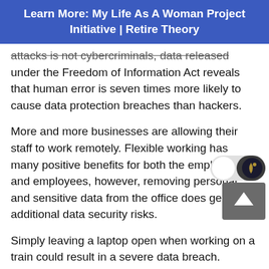Learn More: My Life As A Woman Project Initiative | Retire Theory
attacks is not cybercriminals, data released under the Freedom of Information Act reveals that human error is seven times more likely to cause data protection breaches than hackers.
More and more businesses are allowing their staff to work remotely. Flexible working has many positive benefits for both the employers and employees, however, removing personal and sensitive data from the office does generate additional data security risks.
Simply leaving a laptop open when working on a train could result in a severe data breach. According to iPass, the remote and mobile